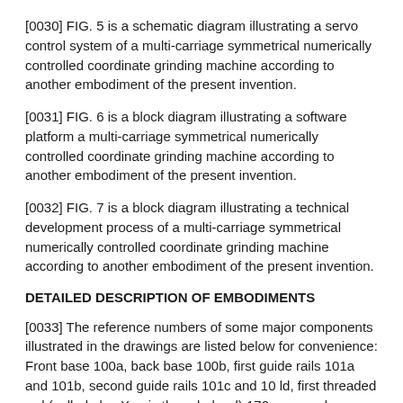[0030] FIG. 5 is a schematic diagram illustrating a servo control system of a multi-carriage symmetrical numerically controlled coordinate grinding machine according to another embodiment of the present invention.
[0031] FIG. 6 is a block diagram illustrating a software platform a multi-carriage symmetrical numerically controlled coordinate grinding machine according to another embodiment of the present invention.
[0032] FIG. 7 is a block diagram illustrating a technical development process of a multi-carriage symmetrical numerically controlled coordinate grinding machine according to another embodiment of the present invention.
DETAILED DESCRIPTION OF EMBODIMENTS
[0033] The reference numbers of some major components illustrated in the drawings are listed below for convenience: Front base 100a, back base 100b, first guide rails 101a and 101b, second guide rails 101c and 10 ld, first threaded rod (called also X-axis threaded rod) 172a, second threaded rod 172b, third threaded rod 172c, fourth threaded rod 172d, first carriage (called also work table